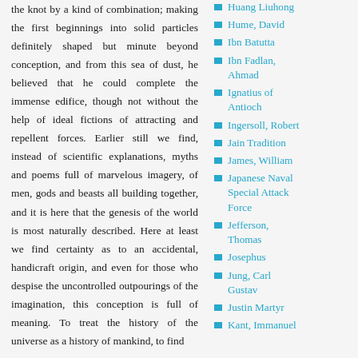the knot by a kind of combination; making the first beginnings into solid particles definitely shaped but minute beyond conception, and from this sea of dust, he believed that he could complete the immense edifice, though not without the help of ideal fictions of attracting and repellent forces. Earlier still we find, instead of scientific explanations, myths and poems full of marvelous imagery, of men, gods and beasts all building together, and it is here that the genesis of the world is most naturally described. Here at least we find certainty as to an accidental, handicraft origin, and even for those who despise the uncontrolled outpourings of the imagination, this conception is full of meaning. To treat the history of the universe as a history of mankind, to find
Huang Liuhong
Hume, David
Ibn Batutta
Ibn Fadlan, Ahmad
Ignatius of Antioch
Ingersoll, Robert
Jain Tradition
James, William
Japanese Naval Special Attack Force
Jefferson, Thomas
Josephus
Jung, Carl Gustav
Justin Martyr
Kant, Immanuel